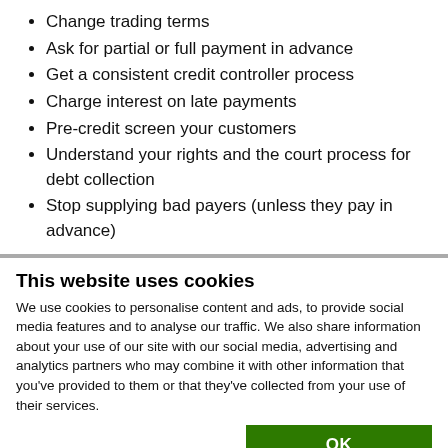Change trading terms
Ask for partial or full payment in advance
Get a consistent credit controller process
Charge interest on late payments
Pre-credit screen your customers
Understand your rights and the court process for debt collection
Stop supplying bad payers (unless they pay in advance)
This website uses cookies
We use cookies to personalise content and ads, to provide social media features and to analyse our traffic. We also share information about your use of our site with our social media, advertising and analytics partners who may combine it with other information that you've provided to them or that they've collected from your use of their services.
OK
Necessary  Preferences  Statistics  Marketing  Show details